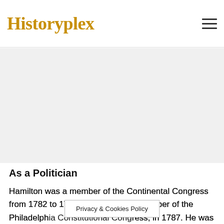Historyplex
[Figure (other): Advertisement/blank area below header]
As a Politician
Hamilton was a member of the Continental Congress from 1782 to 1783. He was also a member of the Philadelphia Constitutional Congress, in 1787. He was also one of the authors of the Federalist Papers
Privacy & Cookies Policy